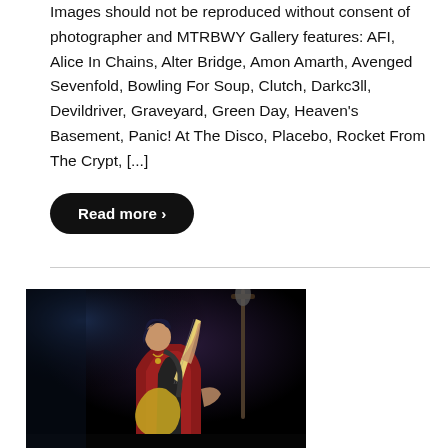Images should not be reproduced without consent of photographer and MTRBWY Gallery features: AFI, Alice In Chains, Alter Bridge, Amon Amarth, Avenged Sevenfold, Bowling For Soup, Clutch, Darkc3ll, Devildriver, Graveyard, Green Day, Heaven's Basement, Panic! At The Disco, Placebo, Rocket From The Crypt, [...]
Read more ›
[Figure (photo): Concert photo of a guitarist in a red vest playing guitar with head tilted back, on a dark stage with a microphone stand visible in the background.]